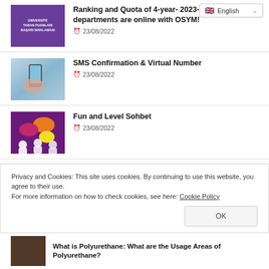[Figure (screenshot): Language selector dropdown showing English with flag icon]
[Figure (illustration): Purple book cover with Turkish text: Üniversite Taban Puanları Başarı Sıralaması]
Ranking and Quota of 4-year- 2023-year departments are online with OSYM!
23/08/2022
[Figure (photo): Person holding a smartphone outdoors]
SMS Confirmation & Virtual Number
23/08/2022
[Figure (illustration): Colorful chat bubbles and silhouette people on purple background]
Fun and Level Sohbet
23/08/2022
Privacy and Cookies: This site uses cookies. By continuing to use this website, you agree to their use.
For more information on how to check cookies, see here: Cookie Policy
OK
What is Polyurethane: What are the Usage Areas of Polyurethane?